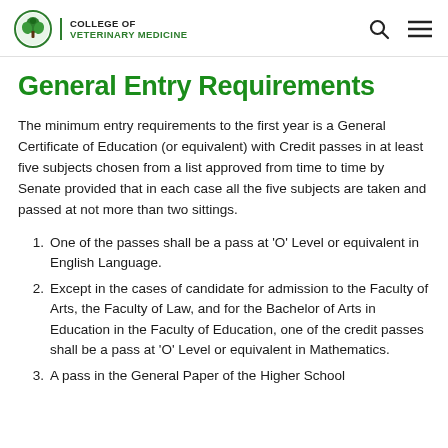COLLEGE OF VETERINARY MEDICINE
General Entry Requirements
The minimum entry requirements to the first year is a General Certificate of Education (or equivalent) with Credit passes in at least five subjects chosen from a list approved from time to time by Senate provided that in each case all the five subjects are taken and passed at not more than two sittings.
1. One of the passes shall be a pass at ‘O’ Level or equivalent in English Language.
2. Except in the cases of candidate for admission to the Faculty of Arts, the Faculty of Law, and for the Bachelor of Arts in Education in the Faculty of Education, one of the credit passes shall be a pass at ‘O’ Level or equivalent in Mathematics.
3. A pass in the General Paper of the Higher School